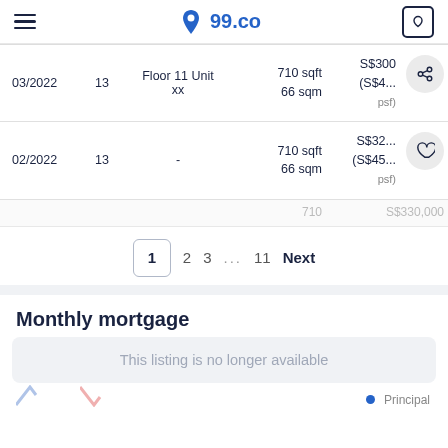99.co
| Date | # | Unit | Size | Price |
| --- | --- | --- | --- | --- |
| 03/2022 | 13 | Floor 11 Unit xx | 710 sqft 66 sqm | S$300... (S$4... psf) |
| 02/2022 | 13 | - | 710 sqft 66 sqm | S$32... (S$45... psf) |
|  |  |  | 710 | S$330,000 |
1  2  3  ...  11  Next
Monthly mortgage
This listing is no longer available
Principal